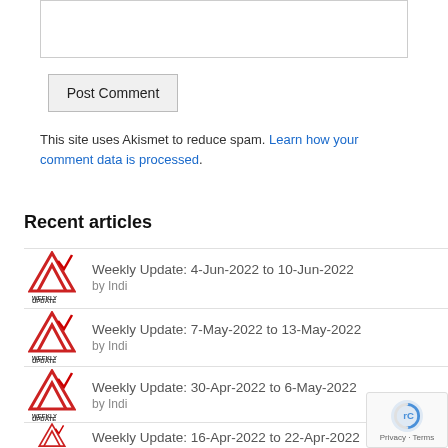[Figure (other): Text input textarea box (comment form field)]
[Figure (other): Post Comment button]
This site uses Akismet to reduce spam. Learn how your comment data is processed.
Recent articles
Weekly Update: 4-Jun-2022 to 10-Jun-2022 by Indi
Weekly Update: 7-May-2022 to 13-May-2022 by Indi
Weekly Update: 30-Apr-2022 to 6-May-2022 by Indi
Weekly Update: 16-Apr-2022 to 22-Apr-2022